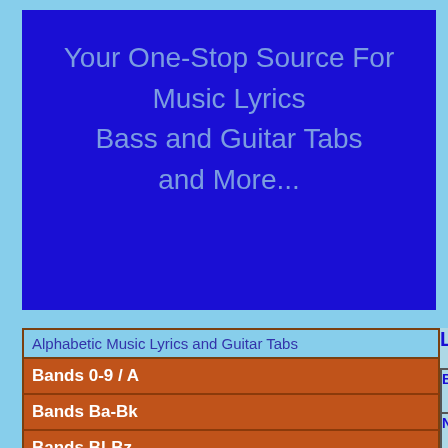Your One-Stop Source For Music Lyrics Bass and Guitar Tabs and More...
| Alphabetic Music Lyrics and Guitar Tabs |
| --- |
| Bands 0-9 / A |
| Bands Ba-Bk |
| Bands Bl-Bz |
| Bands C |
| Bands D-E |
| Bands F-H |
| Bands I-L |
| Bands M-O |
| Bands P-Si |